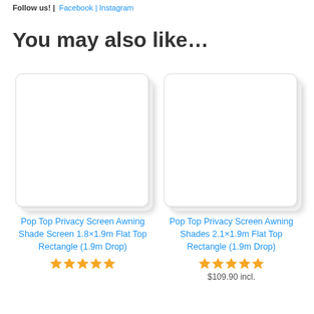Follow us! | Facebook | Instagram
You may also like…
[Figure (photo): Product image placeholder for Pop Top Privacy Screen Awning Shade Screen 1.8×1.9m Flat Top Rectangle (1.9m Drop)]
Pop Top Privacy Screen Awning Shade Screen 1.8×1.9m Flat Top Rectangle (1.9m Drop)
[Figure (photo): Product image placeholder for Pop Top Privacy Screen Awning Shades 2.1×1.9m Flat Top Rectangle (1.9m Drop)]
Pop Top Privacy Screen Awning Shades 2.1×1.9m Flat Top Rectangle (1.9m Drop)
$109.90 incl.